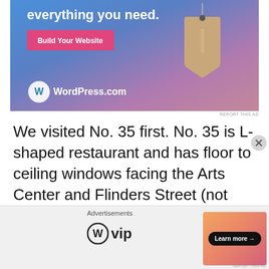[Figure (photo): WordPress.com advertisement banner with blue-to-purple gradient background, text 'everything you need.', pink 'Build Your Website' button, a hanging price tag illustration, and WordPress.com logo]
REPORT THIS AD
We visited No. 35 first. No. 35 is L-shaped restaurant and has floor to ceiling windows facing the Arts Center and Flinders Street (not that you can see it well) on one side and the other was facing Collins
[Figure (other): Bottom advertisement bar showing 'Advertisements', WordPress VIP logo, and a Learn more button over peach/orange gradient]